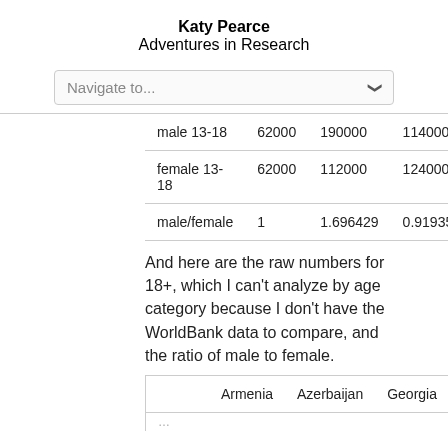Katy Pearce
Adventures in Research
|  | Armenia | Azerbaijan | Georgia |
| --- | --- | --- | --- |
| male 13-18 | 62000 | 190000 | 114000 |
| female 13-18 | 62000 | 112000 | 124000 |
| male/female | 1 | 1.696429 | 0.91935 |
And here are the raw numbers for 18+, which I can't analyze by age category because I don't have the WorldBank data to compare, and the ratio of male to female.
|  | Armenia | Azerbaijan | Georgia |
| --- | --- | --- | --- |